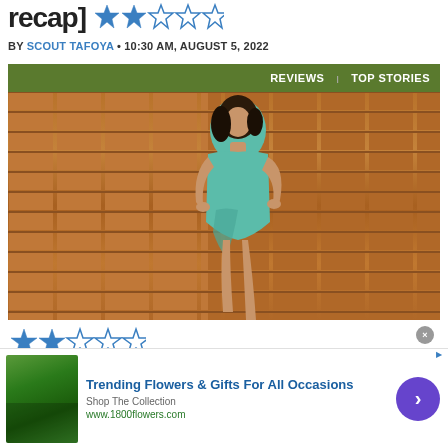recap] ★★☆☆☆
BY SCOUT TAFOYA • 10:30 AM, AUGUST 5, 2022
[Figure (photo): Film review page screenshot showing a woman in a teal swimsuit posing in front of a brick wall, with REVIEWS and TOP STORIES navigation labels on a green bar above.]
[Figure (other): Star rating widget showing 2 out of 5 stars filled in blue]
Trending Flowers & Gifts For All Occasions
Shop The Collection
www.1800flowers.com